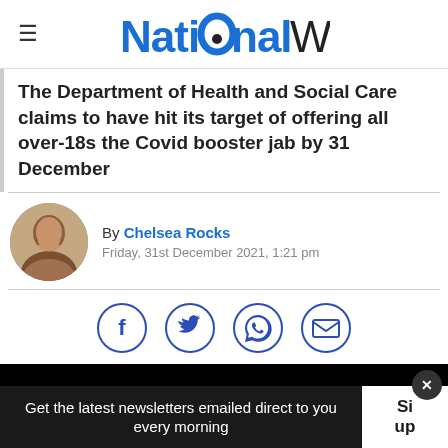NationalWorld
The Department of Health and Social Care claims to have hit its target of offering all over-18s the Covid booster jab by 31 December
By Chelsea Rocks
Friday, 31st December 2021, 1:21 pm
[Figure (other): Social share icons: Facebook, Twitter, WhatsApp, Email]
[Figure (photo): Black video/image block]
Get the latest newsletters emailed direct to you every morning